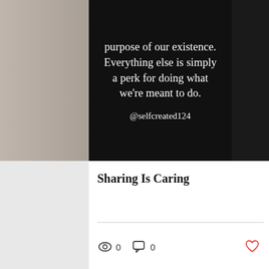[Figure (screenshot): A quote card with black background showing text: 'purpose of our existence. Everything else is simply a perk for doing what we're meant to do.' with attribution @selfcreated124. Flanked by gray/dark side panels.]
Sharing Is Caring
[Figure (infographic): Social post engagement bar showing eye icon with count 0, chat bubble icon with count 0, and heart icon (like button). Below a horizontal divider line.]
[Figure (infographic): Pagination dots (3 dots, first red/active), back-to-top arrow button in gray, teal colored banner bar, and bottom contact bar with Phone and Email icons.]